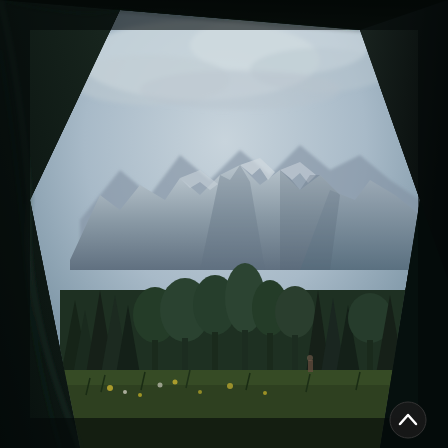[Figure (photo): View from inside a tent looking out through a triangular tent opening. The foreground shows dark tent fabric framing the scene. Through the opening: a lush green meadow with wildflowers at the bottom, dense dark green forest trees in the middle ground, and dramatic rocky Alpine mountain peaks in the background under a cloudy overcast sky. A small circular navigation arrow icon appears in the bottom-right corner.]